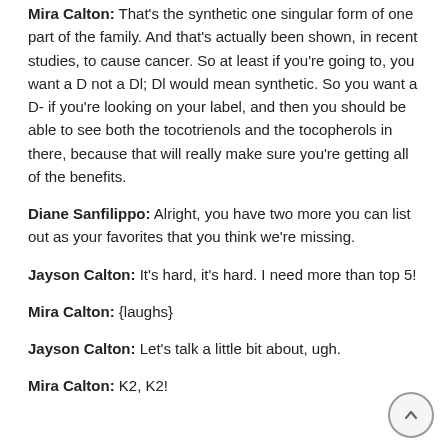Mira Calton: That's the synthetic one singular form of one part of the family. And that's actually been shown, in recent studies, to cause cancer. So at least if you're going to, you want a D not a Dl; Dl would mean synthetic. So you want a D- if you're looking on your label, and then you should be able to see both the tocotrienols and the tocopherols in there, because that will really make sure you're getting all of the benefits.
Diane Sanfilippo: Alright, you have two more you can list out as your favorites that you think we're missing.
Jayson Calton: It's hard, it's hard. I need more than top 5!
Mira Calton: {laughs}
Jayson Calton: Let's talk a little bit about, ugh.
Mira Calton: K2, K2!